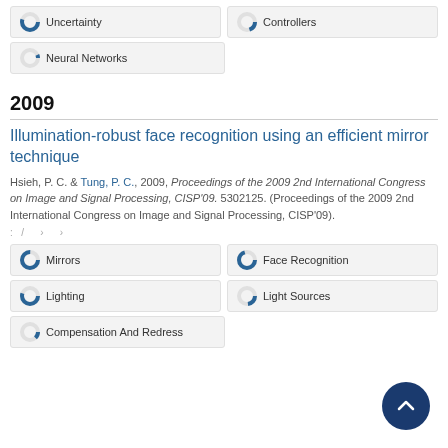Uncertainty (80%)
Controllers (45%)
Neural Networks (18%)
2009
Illumination-robust face recognition using an efficient mirror technique
Hsieh, P. C. & Tung, P. C., 2009, Proceedings of the 2009 2nd International Congress on Image and Signal Processing, CISP'09. 5302125. (Proceedings of the 2009 2nd International Congress on Image and Signal Processing, CISP'09).
Mirrors (100%)
Face Recognition (95%)
Lighting (80%)
Light Sources (48%)
Compensation And Redress (38%)